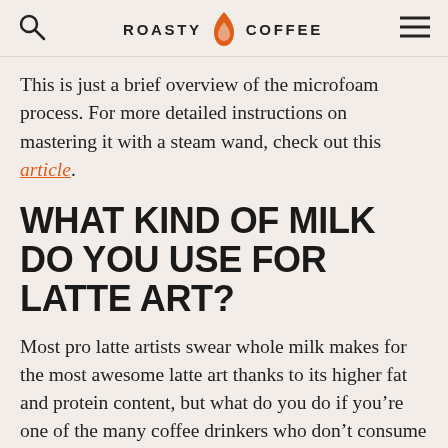ROASTY COFFEE
This is just a brief overview of the microfoam process. For more detailed instructions on mastering it with a steam wand, check out this article.
WHAT KIND OF MILK DO YOU USE FOR LATTE ART?
Most pro latte artists swear whole milk makes for the most awesome latte art thanks to its higher fat and protein content, but what do you do if you’re one of the many coffee drinkers who don’t consume dairy?